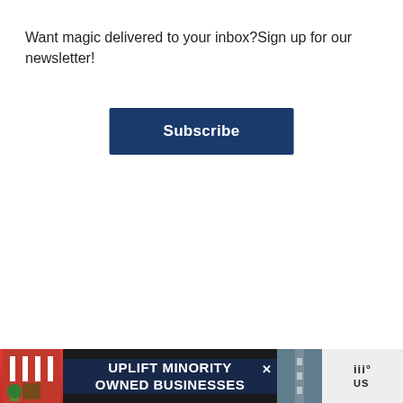Want magic delivered to your inbox?Sign up for our newsletter!
Subscribe
[Figure (infographic): Social login icons: Disqus (blue D), Facebook (dark blue F), Twitter (light blue bird), Google (red G)]
OR SIGN UP WITH DISQUS ?
Name
Be the first to comment.
[Figure (infographic): Action buttons: heart/like button (dark blue circle with heart icon) showing count 1, and share button (white circle with share icon)]
[Figure (infographic): Ad banner at bottom: store illustration with red/white striped awning, text UPLIFT MINORITY OWNED BUSINESSES on dark background, road graphic, and 'us' logo on right]